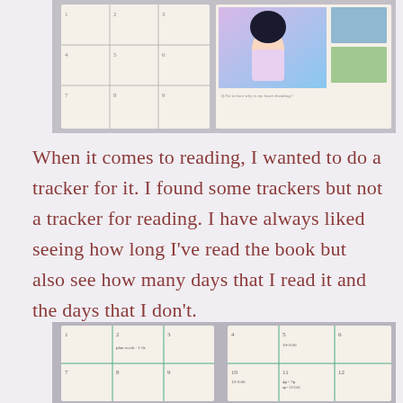[Figure (photo): Top photo of an open bullet journal/planner on a gray star-patterned fabric background. Left page shows a grid/table layout with numbered cells. Right page shows an anime-style illustration of a dark-haired girl with a pink/purple background, and some photos or stickers. Small text reads something like 'If I'm in love why is my heart breaking?']
When it comes to reading, I wanted to do a tracker for it. I found some trackers but not a tracker for reading. I have always liked seeing how long I've read the book but also see how many days that I read it and the days that I don't.
[Figure (photo): Bottom photo of an open bullet journal/planner on a gray star-patterned fabric background. Both pages show grid layouts with numbered cells (1-12 visible), some cells containing handwritten text. The grid cells are outlined in teal/green ink.]